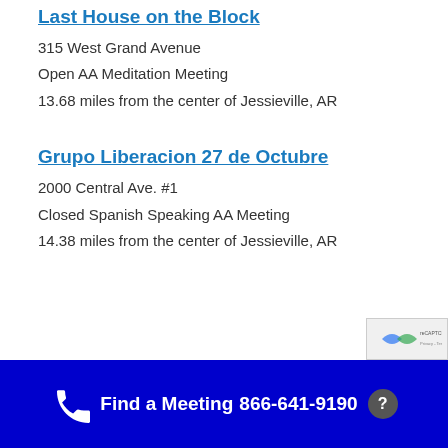Last House on the Block
315 West Grand Avenue
Open AA Meditation Meeting
13.68 miles from the center of Jessieville, AR
Grupo Liberacion 27 de Octubre
2000 Central Ave. #1
Closed Spanish Speaking AA Meeting
14.38 miles from the center of Jessieville, AR
Find a Meeting  866-641-9190